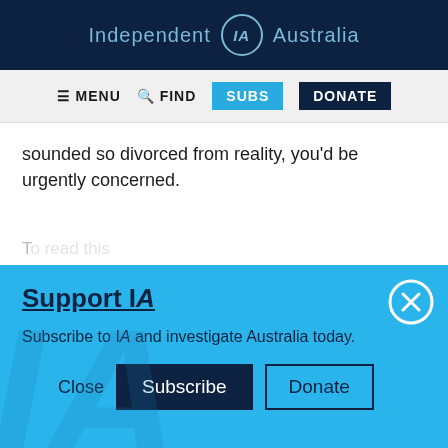Independent IA Australia
[Figure (screenshot): Navigation bar with MENU, FIND, SUBS, and DONATE buttons]
sounded so divorced from reality, you'd be urgently concerned.
Support IA
Subscribe to IA and investigate Australia today.
Close   Subscribe   Donate
Social icons: Twitter, Facebook, LinkedIn, Flipboard, Link, Plus